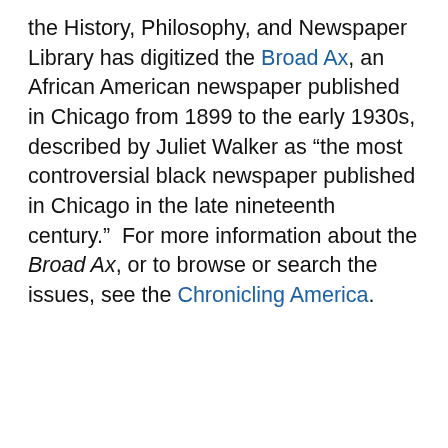the History, Philosophy, and Newspaper Library has digitized the Broad Ax, an African American newspaper published in Chicago from 1899 to the early 1930s, described by Juliet Walker as “the most controversial black newspaper published in Chicago in the late nineteenth century.”  For more information about the Broad Ax, or to browse or search the issues, see the Chronicling America.
Posted in HPNL · New Resources Tagged african american...
Cookie Notice

We use Cookies on this site to enhance your experience and improve our marketing efforts. Click on “About Cookies” to learn more. By continuing to browse without changing your browser settings to block or delete Cookies, you agree to the storing of Cookies and related technologies on your device. University of Illinois System Cookie Policy

[About Cookies] [Close this Notice]